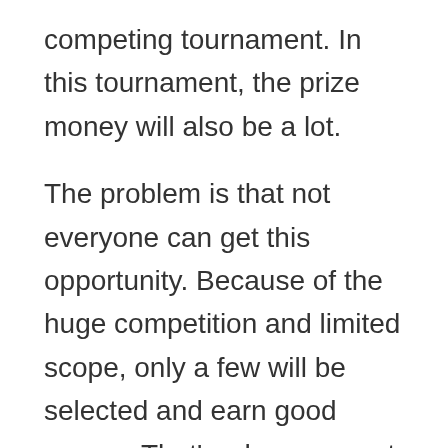competing tournament. In this tournament, the prize money will also be a lot.
The problem is that not everyone can get this opportunity. Because of the huge competition and limited scope, only a few will be selected and earn good money. That’s why you must be a good professional pool player. Also if you are in the games and you do not have a